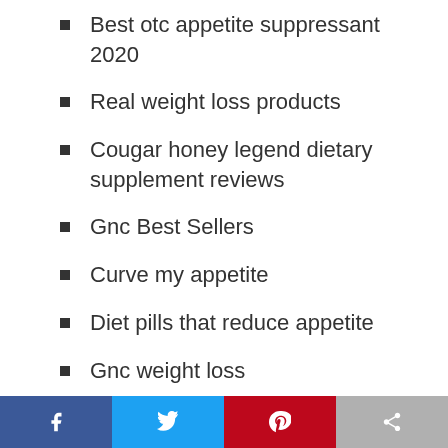Best otc appetite suppressant 2020
Real weight loss products
Cougar honey legend dietary supplement reviews
Gnc Best Sellers
Curve my appetite
Diet pills that reduce appetite
Gnc weight loss
Appetite suppressant and energy booster gnc